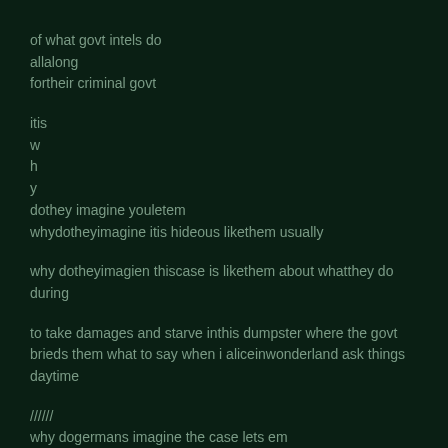of what govt intels do
allalong
fortheir criminal govt
itis
w
h
y
dothey imagine youletem
whydotheyimagine itis hideous likethem usually
why dotheyimagien thiscase is likethem about whatthey do during
to take damages and starve inthis dumpster where the govt brieds them what to say when i aliceinwonderland ask things daytime
/////
why dogermans imagine the case lets em